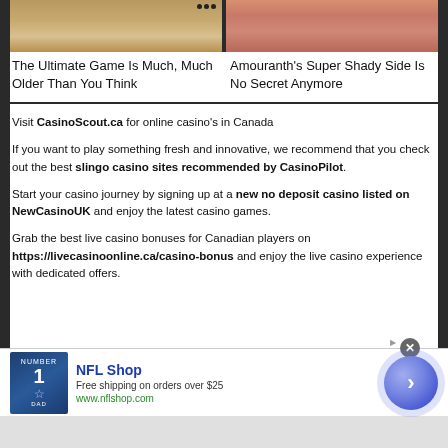[Figure (photo): Two thumbnail images side by side at top: left shows wooden board game pieces, right shows a woman with reddish hair]
The Ultimate Game Is Much, Much Older Than You Think
Amouranth's Super Shady Side Is No Secret Anymore
Visit CasinoScout.ca for online casino’s in Canada
If you want to play something fresh and innovative, we recommend that you check out the best slingo casino sites recommended by CasinoPilot.
Start your casino journey by signing up at a new no deposit casino listed on NewCasinoUK and enjoy the latest casino games.
Grab the best live casino bonuses for Canadian players on https://livecasinoonline.ca/casino-bonus and enjoy the live casino experience with dedicated offers.
[Figure (infographic): NFL Shop advertisement banner with jersey image, title NFL Shop, Free shipping on orders over $25, www.nflshop.com, blue circle with arrow button]